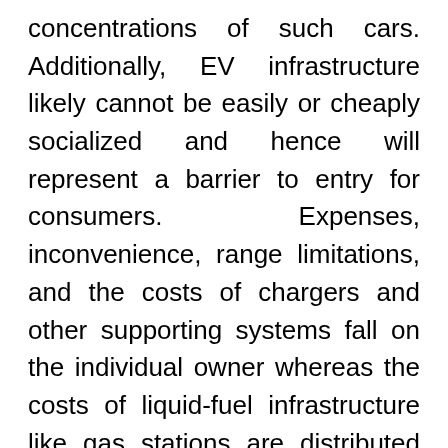concentrations of such cars. Additionally, EV infrastructure likely cannot be easily or cheaply socialized and hence will represent a barrier to entry for consumers. Expenses, inconvenience, range limitations, and the costs of chargers and other supporting systems fall on the individual owner whereas the costs of liquid-fuel infrastructure like gas stations are distributed across society because so many people use them.[26]
As such, China—like other major global markets—is most likely to continue using gasoline propulsion for passenger vehicles. But powertrains will adopt much different configurations than drivers are currently